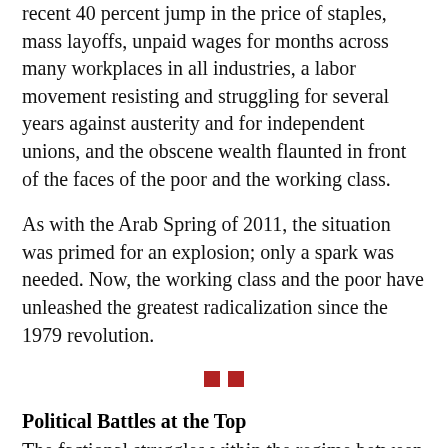recent 40 percent jump in the price of staples, mass layoffs, unpaid wages for months across many workplaces in all industries, a labor movement resisting and struggling for several years against austerity and for independent unions, and the obscene wealth flaunted in front of the faces of the poor and the working class.
As with the Arab Spring of 2011, the situation was primed for an explosion; only a spark was needed. Now, the working class and the poor have unleashed the greatest radicalization since the 1979 revolution.
[Figure (other): Two small red squares used as a decorative section divider]
Political Battles at the Top
The factional struggles within the regime between the hard-liners and the moderates, which created the cracks and fissures within the ruling class and paved the way for the Green Movement, are not the reasons